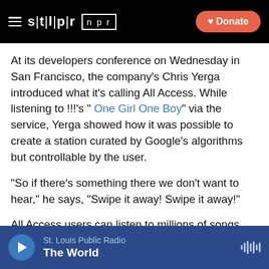STLPR NPR | Donate
At its developers conference on Wednesday in San Francisco, the company's Chris Yerga introduced what it's calling All Access. While listening to !!!'s " One Girl One Boy" via the service, Yerga showed how it was possible to create a station curated by Google's algorithms but controllable by the user.
"So if there's something there we don't want to hear," he says, "Swipe it away! Swipe it away!"
All Access users can listen to millions of songs and albums as part of the streaming radio service, or they can listen to a song or album on demand, as many times as they like.
St. Louis Public Radio — The World